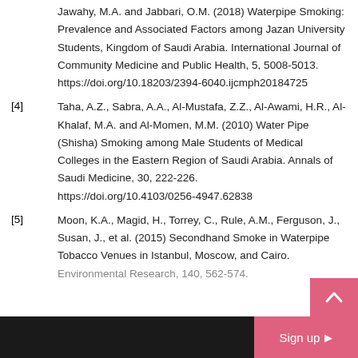Jawahy, M.A. and Jabbari, O.M. (2018) Waterpipe Smoking: Prevalence and Associated Factors among Jazan University Students, Kingdom of Saudi Arabia. International Journal of Community Medicine and Public Health, 5, 5008-5013. https://doi.org/10.18203/2394-6040.ijcmph20184725
[4]  Taha, A.Z., Sabra, A.A., Al-Mustafa, Z.Z., Al-Awami, H.R., Al-Khalaf, M.A. and Al-Momen, M.M. (2010) Water Pipe (Shisha) Smoking among Male Students of Medical Colleges in the Eastern Region of Saudi Arabia. Annals of Saudi Medicine, 30, 222-226. https://doi.org/10.4103/0256-4947.62838
[5]  Moon, K.A., Magid, H., Torrey, C., Rule, A.M., Ferguson, J., Susan, J., et al. (2015) Secondhand Smoke in Waterpipe Tobacco Venues in Istanbul, Moscow, and Cairo. Environmental Research, 140, 562-574.